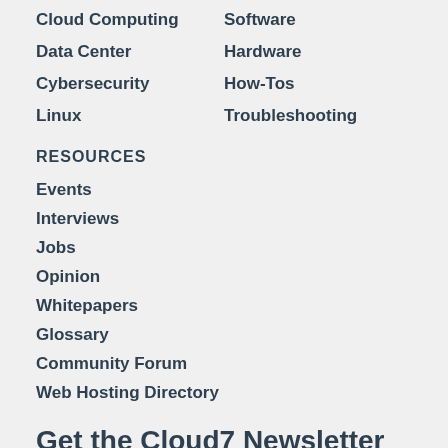Cloud Computing
Software
Data Center
Hardware
Cybersecurity
How-Tos
Linux
Troubleshooting
RESOURCES
Events
Interviews
Jobs
Opinion
Whitepapers
Glossary
Community Forum
Web Hosting Directory
Get the Cloud7 Newsletter
Get FREE daily newsletters from Cloud7 delivering the latest news